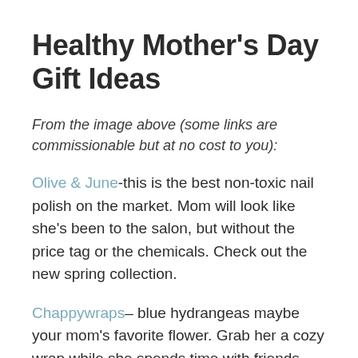Healthy Mother's Day Gift Ideas
From the image above (some links are commissionable but at no cost to you):
Olive & June-this is the best non-toxic nail polish on the market. Mom will look like she's been to the salon, but without the price tag or the chemicals. Check out the new spring collection.
Chappywraps– blue hydrangeas maybe your mom's favorite flower. Grab her a cozy wrap while she spends time with friends outside this